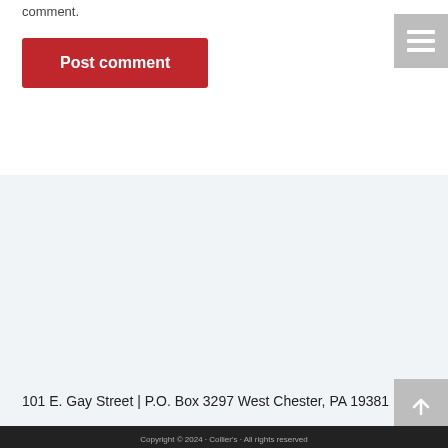comment.
Post comment
101 E. Gay Street | P.O. Box 3297 West Chester, PA 19381
[Figure (logo): Collier's logo with italic serif font and red 'ESTABLISHED 1888' badge]
permissions@jtemultimedia.com |(484) 367-5087
Copyright 2024 Collier's · All rights reserved